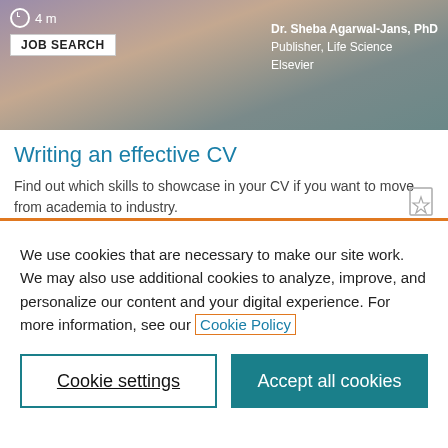[Figure (screenshot): Screenshot of an e-learning card showing a video thumbnail with a person and floral background, a JOB SEARCH tag, a clock icon showing 4 m, and presenter info: Dr. Sheba Agarwal-Jans, PhD, Publisher, Life Science, Elsevier]
Writing an effective CV
Find out which skills to showcase in your CV if you want to move from academia to industry.
We use cookies that are necessary to make our site work. We may also use additional cookies to analyze, improve, and personalize our content and your digital experience. For more information, see our Cookie Policy
Cookie settings
Accept all cookies